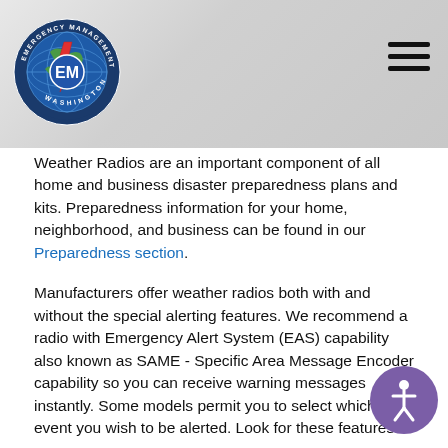Emergency Management Division – Washington State
Weather Radios are an important component of all home and business disaster preparedness plans and kits. Preparedness information for your home, neighborhood, and business can be found in our Preparedness section.
Manufacturers offer weather radios both with and without the special alerting features. We recommend a radio with Emergency Alert System (EAS) capability also known as SAME - Specific Area Message Encoder capability so you can receive warning messages instantly. Some models permit you to select which event you wish to be alerted. Look for these features.
The National Weather Service says you can buy receivers at many retail outlets such as electronics, department, sporting goods, and boat and marine accessory stores and their catalogs as well as online. For National Weather Service guidelines, including a list of manufacturers, go here. NOAA Weather Radios range in cost from $25 up to $100 or more, depending on the quality of the radio and the number of features it has.
We also recommend that you get an "EAS-type" programmable